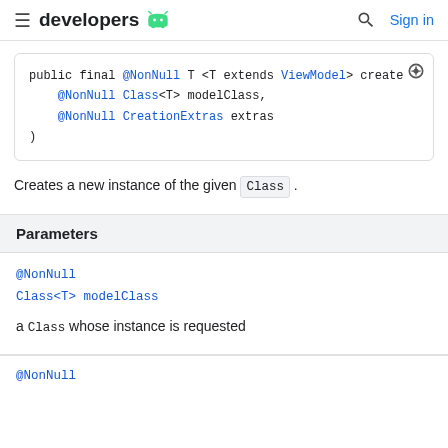≡ developers 🤖  🔍 Sign in
public final @NonNull T <T extends ViewModel> create
    @NonNull Class<T> modelClass,
    @NonNull CreationExtras extras
)
Creates a new instance of the given Class .
Parameters
@NonNull
Class<T> modelClass
a Class whose instance is requested